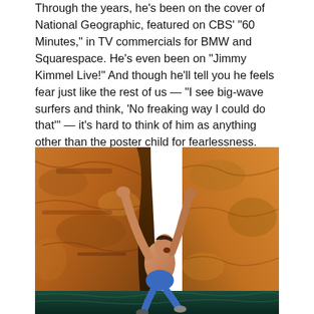Through the years, he's been on the cover of National Geographic, featured on CBS' "60 Minutes," in TV commercials for BMW and Squarespace. He's even been on "Jimmy Kimmel Live!" And though he'll tell you he feels fear just like the rest of us — "I see big-wave surfers and think, 'No freaking way I could do that'" — it's hard to think of him as anything other than the poster child for fearlessness.
[Figure (photo): A shirtless male rock climber scaling a steep orange-brown rock face, reaching upward with both hands, mouth open, wearing blue shorts and climbing shoes. Dark water is visible at the bottom of the cliff.]